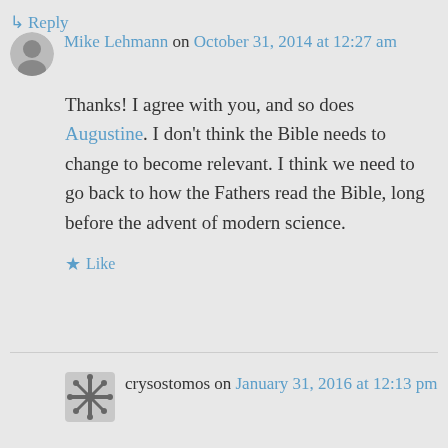Mike Lehmann on October 31, 2014 at 12:27 am
Thanks! I agree with you, and so does Augustine. I don't think the Bible needs to change to become relevant. I think we need to go back to how the Fathers read the Bible, long before the advent of modern science.
★ Like
↳ Reply
crysostomos on January 31, 2016 at 12:13 pm